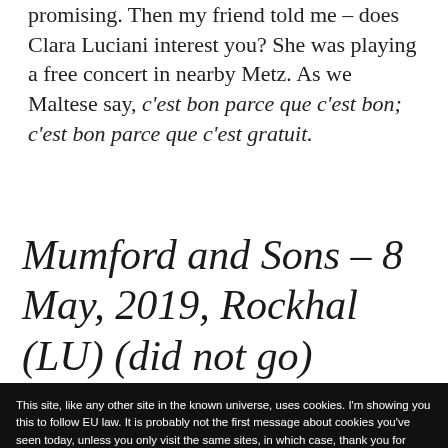promising. Then my friend told me – does Clara Luciani interest you? She was playing a free concert in nearby Metz. As we Maltese say, c'est bon parce que c'est bon; c'est bon parce que c'est gratuit.
Mumford and Sons – 8 May, 2019, Rockhal (LU) (did not go)
This site, like any other site in the known universe, uses cookies. I'm showing you this to follow EU law. It is probably not the first message about cookies you've seen today, unless you only visit the same sites, in which case, thank you for making an exception. Cookie Policy
one of their expensive concerts on